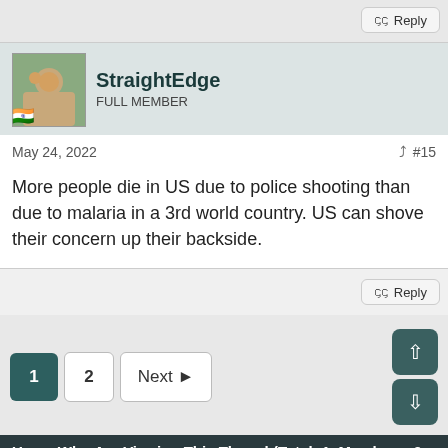Reply
StraightEdge
FULL MEMBER
May 24, 2022 #15
More people die in US due to police shooting than due to malaria in a 3rd world country. US can shove their concern up their backside.
Reply
1 2 Next
Users Who Are Viewing This Thread (Total: 1, Members: 0, Guests: 1)